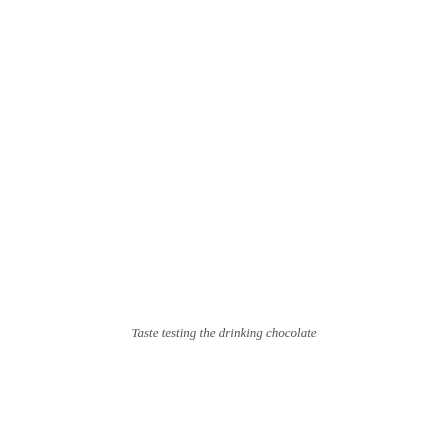Taste testing the drinking chocolate